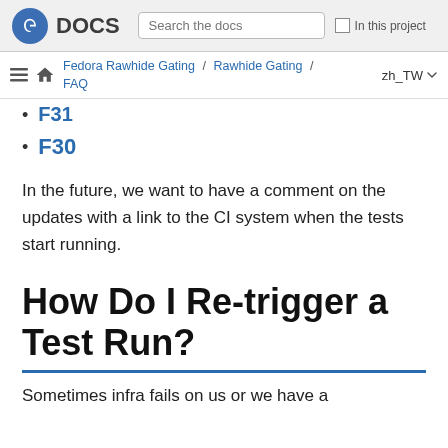Fedora DOCS | Search the docs | In this project
Fedora Rawhide Gating / Rawhide Gating / FAQ   zh_TW
F31
F30
In the future, we want to have a comment on the updates with a link to the CI system when the tests start running.
How Do I Re-trigger a Test Run?
Sometimes infra fails on us or we have a